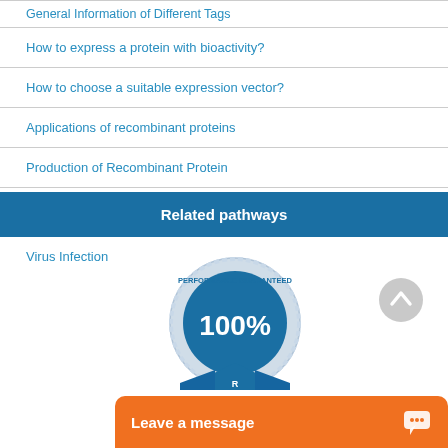General Information of Different Tags
How to express a protein with bioactivity?
How to choose a suitable expression vector?
Applications of recombinant proteins
Production of Recombinant Protein
Related pathways
Virus Infection
[Figure (logo): Blue circular badge/seal reading PERFORMANCE GUARANTEED 100% with ribbon below]
[Figure (other): Gray circular scroll-to-top arrow button]
Leave a message